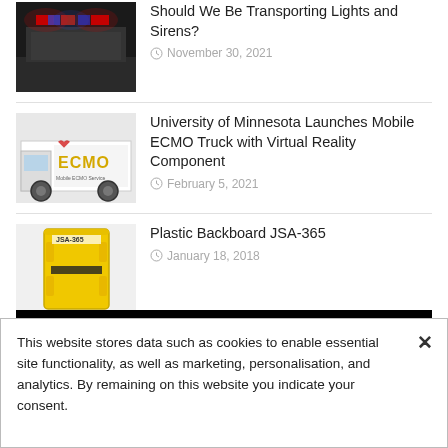[Figure (photo): Emergency vehicle with red and blue lights at night]
Should We Be Transporting Lights and Sirens?
November 30, 2021
[Figure (photo): ECMO mobile truck, white vehicle with ECMO branding]
University of Minnesota Launches Mobile ECMO Truck with Virtual Reality Component
February 5, 2021
[Figure (photo): Yellow plastic backboard JSA-365]
Plastic Backboard JSA-365
January 18, 2018
[Figure (other): Road Rescue advertisement banner: TAKE OUR FACTORY TOUR - Watch now!]
TEXT
This website stores data such as cookies to enable essential site functionality, as well as marketing, personalisation, and analytics. By remaining on this website you indicate your consent.